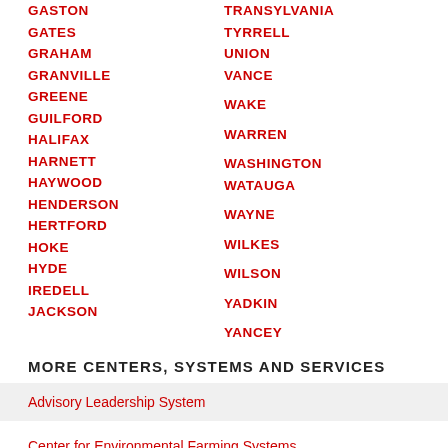GASTON
GATES
GRAHAM
GRANVILLE
GREENE
GUILFORD
HALIFAX
HARNETT
HAYWOOD
HENDERSON
HERTFORD
HOKE
HYDE
IREDELL
JACKSON
TRANSYLVANIA
TYRRELL
UNION
VANCE
WAKE
WARREN
WASHINGTON
WATAUGA
WAYNE
WILKES
WILSON
YADKIN
YANCEY
MORE CENTERS, SYSTEMS AND SERVICES
Advisory Leadership System
Center for Environmental Farming Systems